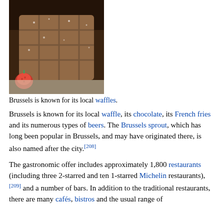[Figure (photo): A close-up photo of Belgian waffles dusted with powdered sugar, with a strawberry beside them on a white surface.]
Brussels is known for its local waffles.
Brussels is known for its local waffle, its chocolate, its French fries and its numerous types of beers. The Brussels sprout, which has long been popular in Brussels, and may have originated there, is also named after the city.[208]
The gastronomic offer includes approximately 1,800 restaurants (including three 2-starred and ten 1-starred Michelin restaurants),[209] and a number of bars. In addition to the traditional restaurants, there are many cafés, bistros and the usual range of